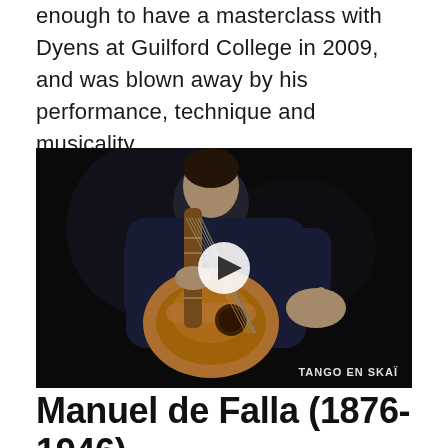enough to have a masterclass with Dyens at Guilford College in 2009, and was blown away by his performance, technique and musicality.
[Figure (photo): Video thumbnail of a guitarist playing classical guitar in a dark studio setting, with a white play button overlay in the center. Text 'TANGO EN SKAÏ' appears in the bottom right corner.]
Manuel de Falla (1876-1946)